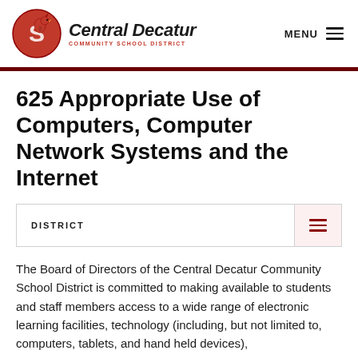[Figure (logo): Central Decatur Community School District logo — cardinal mascot in red circle with 'S', beside bold text 'Central Decatur' and 'COMMUNITY SCHOOL DISTRICT' in red small caps]
625 Appropriate Use of Computers, Computer Network Systems and the Internet
DISTRICT
The Board of Directors of the Central Decatur Community School District is committed to making available to students and staff members access to a wide range of electronic learning facilities, technology (including, but not limited to, computers, tablets, and hand held devices),